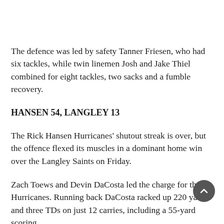The defence was led by safety Tanner Friesen, who had six tackles, while twin linemen Josh and Jake Thiel combined for eight tackles, two sacks and a fumble recovery.
HANSEN 54, LANGLEY 13
The Rick Hansen Hurricanes' shutout streak is over, but the offence flexed its muscles in a dominant home win over the Langley Saints on Friday.
Zach Toews and Devin DaCosta led the charge for the Hurricanes. Running back DaCosta racked up 220 yards and three TDs on just 12 carries, including a 55-yard scoring